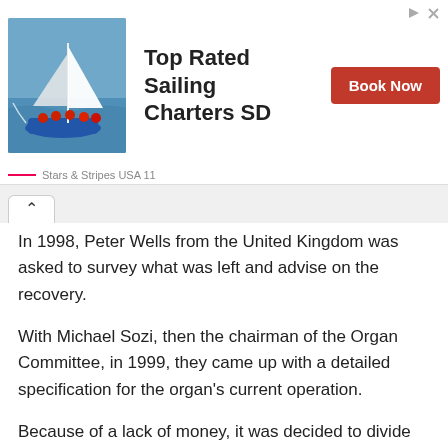[Figure (photo): Sailing boat advertisement for Top Rated Sailing Charters SD with a photo of a sailboat and crew, a Book Now button, and Stars & Stripes USA 11 caption]
In 1998, Peter Wells from the United Kingdom was asked to survey what was left and advise on the recovery.
With Michael Sozi, then the chairman of the Organ Committee, in 1999, they came up with a detailed specification for the organ's current operation.
Because of a lack of money, it was decided to divide the restoration project into multiple stages.